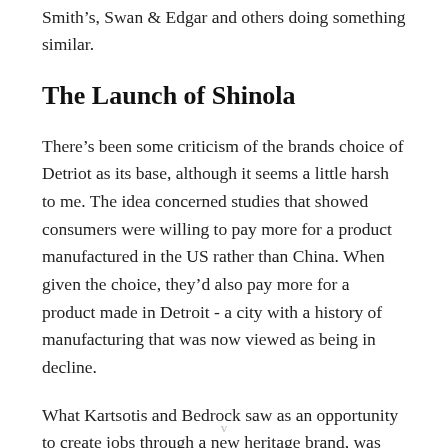Smith's, Swan & Edgar and others doing something similar.
The Launch of Shinola
There’s been some criticism of the brands choice of Detriot as its base, although it seems a little harsh to me. The idea concerned studies that showed consumers were willing to pay more for a product manufactured in the US rather than China. When given the choice, they’d also pay more for a product made in Detroit - a city with a history of manufacturing that was now viewed as being in decline.
What Kartsotis and Bedrock saw as an opportunity to create jobs through a new heritage brand, was viewed by others as a cynical marketing ploy.
v